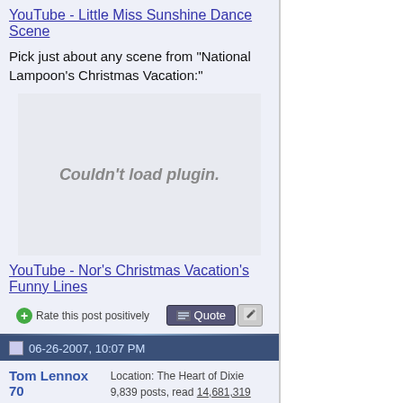YouTube - Little Miss Sunshine Dance Scene
Pick just about any scene from "National Lampoon's Christmas Vacation:"
[Figure (other): Embedded video plugin placeholder showing 'Couldn't load plugin.']
YouTube - Nor's Christmas Vacation's Funny Lines
Rate this post positively
06-26-2007, 10:07 PM
Tom Lennox 70  Location: The Heart of Dixie  9,839 posts, read 14,681,319 times
The Sandlot where Squints fakes the drowning in the pool. That is an absolute classic scene if